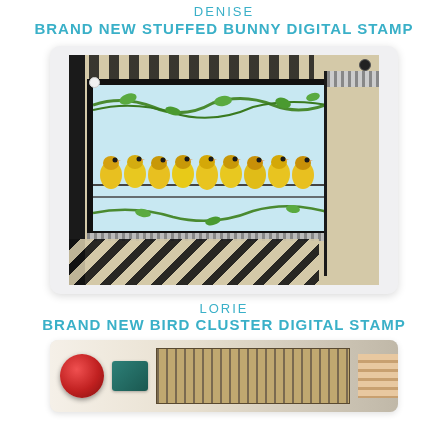DENISE
BRAND NEW STUFFED BUNNY DIGITAL STAMP
[Figure (photo): Handmade greeting card featuring a row of yellow birds (bird cluster) perched on a wire, surrounded by green vines, framed with black and beige/tan decorative patterned paper layers with pearl embellishments]
LORIE
BRAND NEW BIRD CLUSTER DIGITAL STAMP
[Figure (photo): Partial view of another handmade card with red flower and teal/dark green elements on a beige/tan patterned background]